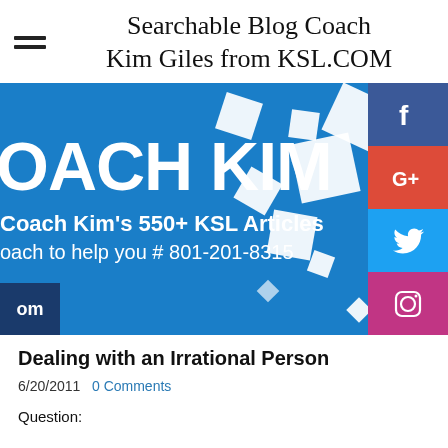Searchable Blog Coach Kim Giles from KSL.COM
[Figure (illustration): Banner image for Coach Kim blog featuring 'COACH KIM' in large white text on a blue background, with floating white squares, social media icons (Facebook, Google+, Twitter, Instagram, LinkedIn) on the right side, and text 'Coach Kim’s 550+ KSL Articles' and 'coach to help you # 801-201-8315']
Dealing with an Irrational Person
6/20/2011  0 Comments
Question: